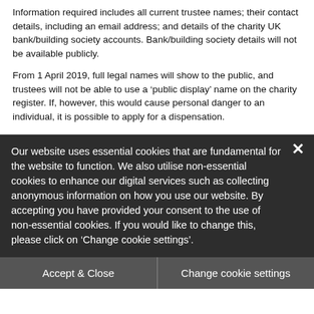Information required includes all current trustee names; their contact details, including an email address; and details of the charity UK bank/building society accounts. Bank/building society details will not be available publicly.
From 1 April 2019, full legal names will show to the public, and trustees will not be able to use a 'public display' name on the charity register. If, however, this would cause personal danger to an individual, it is possible to apply for a dispensation.
New questions are introduced in the 2018 return, which can be pre-viewed before filling in. Some are optional for 2018, but will become compulsory for future returns.
Our website uses essential cookies that are fundamental for the website to function. We also utilise non-essential cookies to enhance our digital services such as collecting anonymous information on how you use our website. By accepting you have provided your consent to the use of non-essential cookies. If you would like to change this, please click on 'Change cookie settings'.
Accept & Close
Change cookie settings